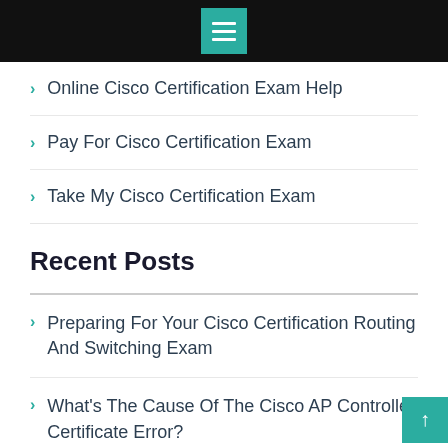[Figure (screenshot): Black top navigation bar with teal hamburger menu icon in center]
Online Cisco Certification Exam Help
Pay For Cisco Certification Exam
Take My Cisco Certification Exam
Recent Posts
Preparing For Your Cisco Certification Routing And Switching Exam
What's The Cause Of The Cisco AP Controller Certificate Error?
Getting a Cisco Certification in Germany!